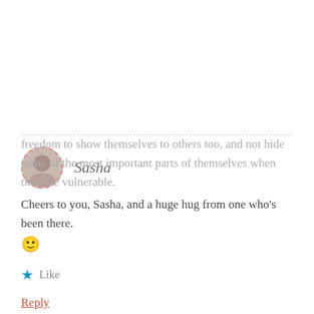freedom to show themselves to others too, and not hide some of the most important parts of themselves when they are vulnerable.
Cheers to you, Sasha, and a huge hug from one who's been there.
🙂
★ Like
Reply
Sasha
Privacy & Cookies: This site uses cookies. By continuing to use this website, you agree to their use.
To find out more, including how to control cookies, see here: Cookie Policy
Close and accept